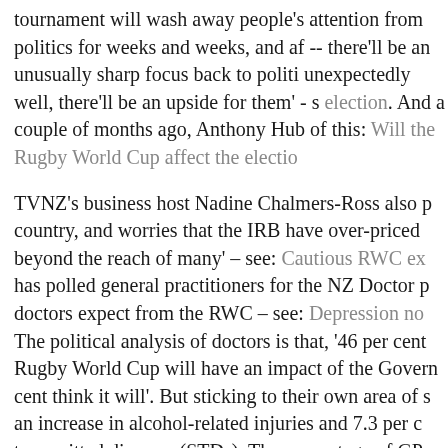tournament will wash away people's attention from politics for weeks and weeks, and af -- there'll be an unusually sharp focus back to politi unexpectedly well, there'll be an upside for them' - s election. And a couple of months ago, Anthony Hub of this: Will the Rugby World Cup affect the electio
TVNZ's business host Nadine Chalmers-Ross also p country, and worries that the IRB have over-priced beyond the reach of many' – see: Cautious RWC ex has polled general practitioners for the NZ Doctor p doctors expect from the RWC – see: Depression no The political analysis of doctors is that, '46 per cent Rugby World Cup will have an impact of the Govern cent think it will'. But sticking to their own area of s an increase in alcohol-related injuries and 7.3 per c transmitted diseases (STDs). The percentage of GPs depression, alcohol-related injuries and STDs - is 35 encounter as a result of the Rugby World Cup inclu indigestion, rape, assault, partner abuse, financial st respiratory tract infection and gout'.